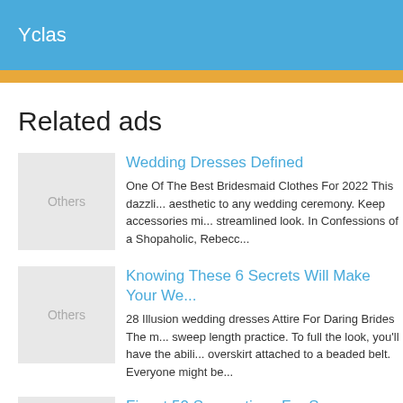Yclas
Related ads
Wedding Dresses Defined
One Of The Best Bridesmaid Clothes For 2022 This dazzli... aesthetic to any wedding ceremony. Keep accessories mi... streamlined look. In Confessions of a Shopaholic, Rebecc...
Knowing These 6 Secrets Will Make Your We...
28 Illusion wedding dresses Attire For Daring Brides The n... sweep length practice. To full the look, you'll have the abili... overskirt attached to a beaded belt. Everyone might be...
Finest 50 Suggestions For Seo
Bridesmaid Accessories An ultra-feminine alternative howe... ace is all the time attractive and we love the cocktail size c... neck will look excellent with many physique shapes,...